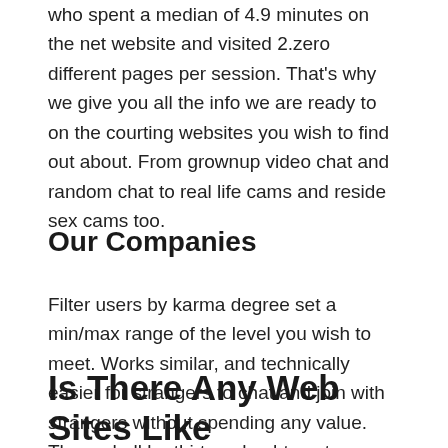who spent a median of 4.9 minutes on the net website and visited 2.zero different pages per session. That's why we give you all the info we are ready to on the courting websites you wish to find out about. From grownup video chat and random chat to real life cams and reside sex cams too.
Our Companies
Filter users by karma degree set a min/max range of the level you wish to meet. Works similar, and technically easier for strangers to chat and join with strangers without spending any value. There shall be thirteen hashtags to decide on and users can choose any of that based on their interests and even choose all of them in the occasion that they wish to. Forget about Omegle.com for a while and let's dive into the options of this chat random web site called EmeraldChat.
Is There Any Web Sites Like